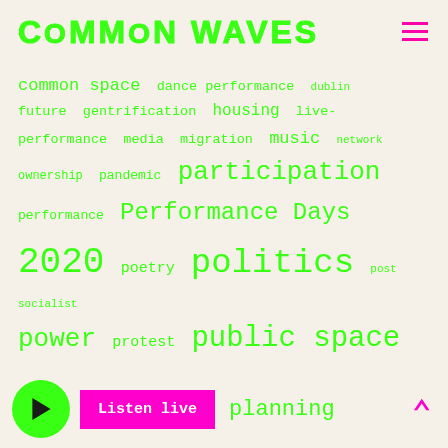COMMON WAVES
[Figure (infographic): Tag cloud with terms related to Common Waves radio project including: common space, dance performance, dublin, future, gentrification, housing, live-performance, media, migration, music, network, ownership, pandemic, participation, performance, Performance Days 2020, poetry, politics, post socialist, power, protest, public space, radio, radio as community, reading, resistance, social, sonic space, sound design, sound of the city, TAB 2020, technology, transformation, urban, urban planning. Words vary in size to indicate frequency/importance.]
Listen live